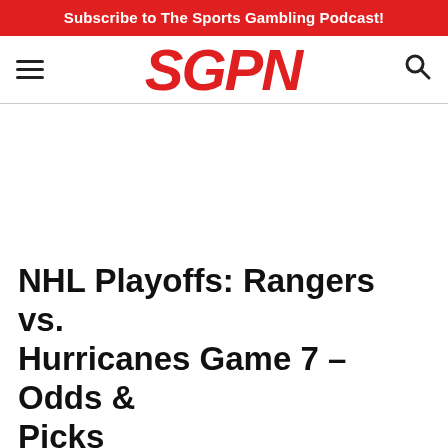Subscribe to The Sports Gambling Podcast!
[Figure (logo): SGPN logo in bold red italic letters with hamburger menu icon on left and search icon on right]
NHL Playoffs: Rangers vs. Hurricanes Game 7 – Odds & Picks
Read No More excerpt cut off at bottom